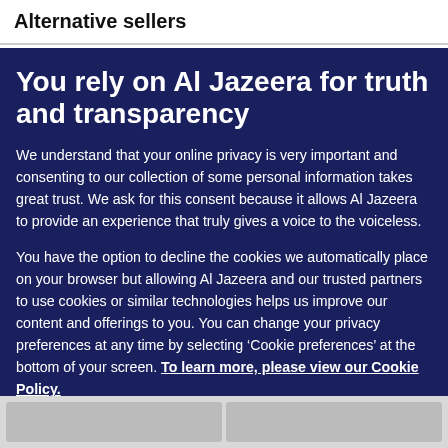Alternative sellers
You rely on Al Jazeera for truth and transparency
We understand that your online privacy is very important and consenting to our collection of some personal information takes great trust. We ask for this consent because it allows Al Jazeera to provide an experience that truly gives a voice to the voiceless.
You have the option to decline the cookies we automatically place on your browser but allowing Al Jazeera and our trusted partners to use cookies or similar technologies helps us improve our content and offerings to you. You can change your privacy preferences at any time by selecting ‘Cookie preferences’ at the bottom of your screen. To learn more, please view our Cookie Policy.